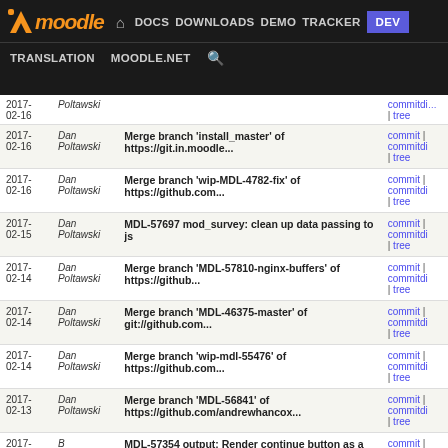Moodle navigation: DOCS DOWNLOADS DEMO TRACKER DEV | TRANSLATION MOODLE.NET
| Date | Author | Commit message | Links |
| --- | --- | --- | --- |
| 2017-02-16 | Poltawski | (partial row) | commitdiff | tree |
| 2017-02-16 | Dan Poltawski | Merge branch 'install_master' of https://git.in.moodle... | commit | commitdiff | tree |
| 2017-02-16 | Dan Poltawski | Merge branch 'wip-MDL-4782-fix' of https://github.com... | commit | commitdiff | tree |
| 2017-02-15 | Dan Poltawski | MDL-57697 mod_survey: clean up data passing to js | commit | commitdiff | tree |
| 2017-02-14 | Dan Poltawski | Merge branch 'MDL-57810-nginx-buffers' of https://github... | commit | commitdiff | tree |
| 2017-02-14 | Dan Poltawski | Merge branch 'MDL-46375-master' of git://github.com... | commit | commitdiff | tree |
| 2017-02-14 | Dan Poltawski | Merge branch 'wip-mdl-55476' of https://github.com... | commit | commitdiff | tree |
| 2017-02-13 | Dan Poltawski | Merge branch 'MDL-56841' of https://github.com/andrewhancox... | commit | commitdiff | tree |
| 2017-02-13 | B Krishnan Iyer | MDL-57354 output: Render continue button as a primary... | commit | commitdiff | tree |
| 2017-02-13 | Dan Poltawski | MDL-55476 block_login: fix whitespace | commit | commitdiff | tree |